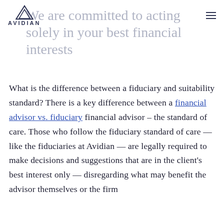AVIDIAN [logo]
We are committed to acting solely in your best financial interests
What is the difference between a fiduciary and suitability standard? There is a key difference between a financial advisor vs. fiduciary financial advisor – the standard of care. Those who follow the fiduciary standard of care — like the fiduciaries at Avidian — are legally required to make decisions and suggestions that are in the client's best interest only — disregarding what may benefit the advisor themselves or the firm